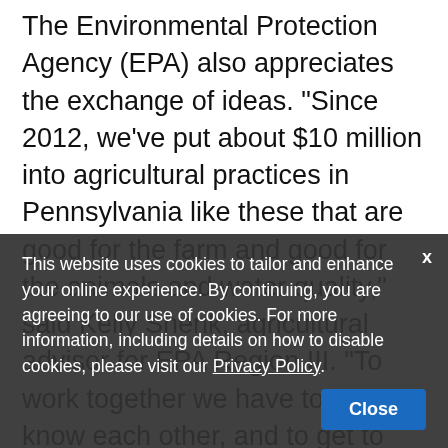The Environmental Protection Agency (EPA) also appreciates the exchange of ideas. "Since 2012, we've put about $10 million into agricultural practices in Pennsylvania like these that are good for the farm and good for the animals and water quality," said Kelly Shenk, agricultural advisor for EPA Region III. "To work together we have to get to know each other, and to get to know each other we need to be out on the farm. This is really where we get to talk one on one about firsthand experiences, firsthand successes of making profitable farms, food production, and clean water, and where the real challenges are."
This website uses cookies to tailor and enhance your online experience. By continuing, you are agreeing to our use of cookies. For more information, including details on how to disable cookies, please visit our Privacy Policy.